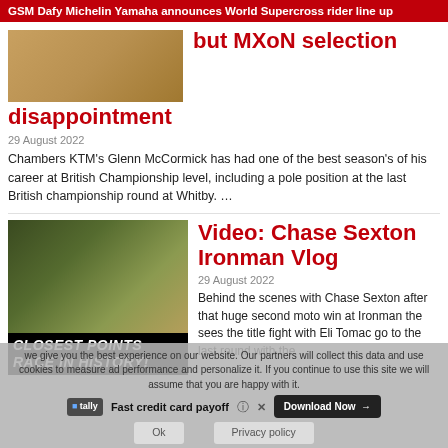GSM Dafy Michelin Yamaha announces World Supercross rider line up
[Figure (photo): Motocross sandy terrain photo (partially visible, top left)]
but MXoN selection disappointment
29 August 2022
Chambers KTM's Glenn McCormick has had one of the best season's of his career at British Championship level, including a pole position at the last British championship round at Whitby. …
[Figure (photo): Motocross riders celebrating on podium with 'CLOSEST POINTS RACE IN HISTORY!' overlay text]
Video: Chase Sexton Ironman Vlog
29 August 2022
Behind the scenes with Chase Sexton after that huge second moto win at Ironman the sees the title fight with Eli Tomac go to the last round with the
we give you the best experience on our website. Our partners will collect this data and use cookies to measure ad performance and personalize it. If you continue to use this site we will assume that you are happy with it.
Fast credit card payoff
Ok   Privacy policy